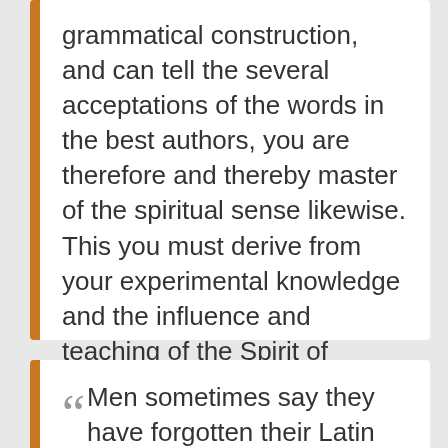grammatical construction, and can tell the several acceptations of the words in the best authors, you are therefore and thereby master of the spiritual sense likewise. This you must derive from your experimental knowledge and the influence and teaching of the Spirit of God.19
— John Newton
“Men sometimes say they have forgotten their Latin and